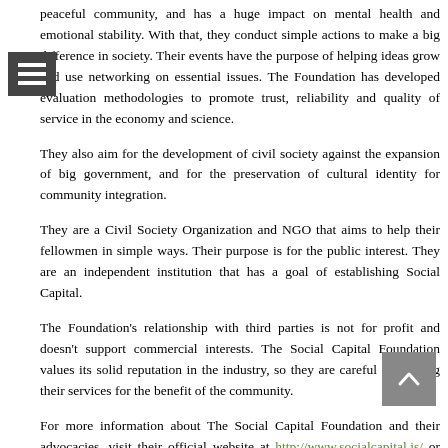peaceful community, and has a huge impact on mental health and emotional stability. With that, they conduct simple actions to make a big difference in society. Their events have the purpose of helping ideas grow and use networking on essential issues. The Foundation has developed evaluation methodologies to promote trust, reliability and quality of service in the economy and science.
They also aim for the development of civil society against the expansion of big government, and for the preservation of cultural identity for community integration.
They are a Civil Society Organization and NGO that aims to help their fellowmen in simple ways. Their purpose is for the public interest. They are an independent institution that has a goal of establishing Social Capital.
The Foundation's relationship with third parties is not for profit and doesn't support commercial interests. The Social Capital Foundation values its solid reputation in the industry, so they are careful in offering their services for the benefit of the community.
For more information about The Social Capital Foundation and their advocacies, visit their official website at http://www.socialcapital.is/ or email them at sg@socialcapital.is.